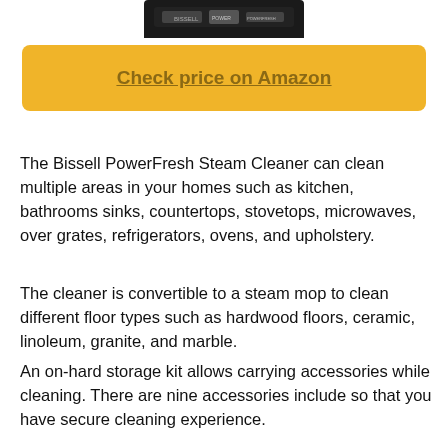[Figure (photo): Partial product image of Bissell PowerFresh Steam Cleaner at top of page]
Check price on Amazon
The Bissell PowerFresh Steam Cleaner can clean multiple areas in your homes such as kitchen, bathrooms sinks, countertops, stovetops, microwaves, over grates, refrigerators, ovens, and upholstery.
The cleaner is convertible to a steam mop to clean different floor types such as hardwood floors, ceramic, linoleum, granite, and marble.
An on-hard storage kit allows carrying accessories while cleaning. There are nine accessories include so that you have secure cleaning experience.
The 3-in-1 design allows you to clean both on and above the floors with a fully upright steam mop. There is an extension wand too.